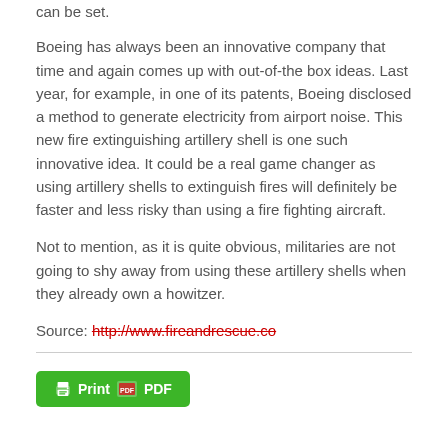can be set.
Boeing has always been an innovative company that time and again comes up with out-of-the box ideas. Last year, for example, in one of its patents, Boeing disclosed a method to generate electricity from airport noise. This new fire extinguishing artillery shell is one such innovative idea. It could be a real game changer as using artillery shells to extinguish fires will definitely be faster and less risky than using a fire fighting aircraft.
Not to mention, as it is quite obvious, militaries are not going to shy away from using these artillery shells when they already own a howitzer.
Source: http://www.fireandrescue.co
[Figure (other): Print PDF button — a green rounded button with printer icon and PDF icon, labeled 'Print PDF']